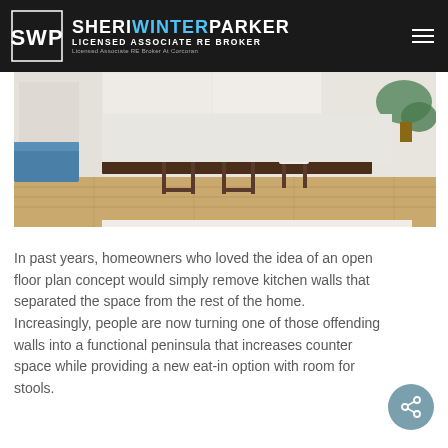SHERI WINTER PARKER — LICENSED ASSOCIATE RE BROKER — Licensed Associate RE Broker At Corcoran
[Figure (photo): Interior kitchen/dining area photo showing bar stools at a dark wood counter, hardwood floors, white cabinetry, and indoor plants]
In past years, homeowners who loved the idea of an open floor plan concept would simply remove kitchen walls that separated the space from the rest of the home. Increasingly, people are now turning one of those offending walls into a functional peninsula that increases counter space while providing a new eat-in option with room for stools.